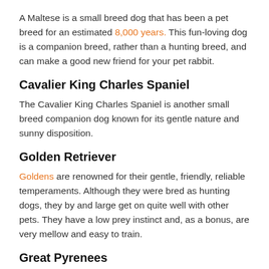A Maltese is a small breed dog that has been a pet breed for an estimated 8,000 years. This fun-loving dog is a companion breed, rather than a hunting breed, and can make a good new friend for your pet rabbit.
Cavalier King Charles Spaniel
The Cavalier King Charles Spaniel is another small breed companion dog known for its gentle nature and sunny disposition.
Golden Retriever
Goldens are renowned for their gentle, friendly, reliable temperaments. Although they were bred as hunting dogs, they by and large get on quite well with other pets. They have a low prey instinct and, as a bonus, are very mellow and easy to train.
Great Pyrenees